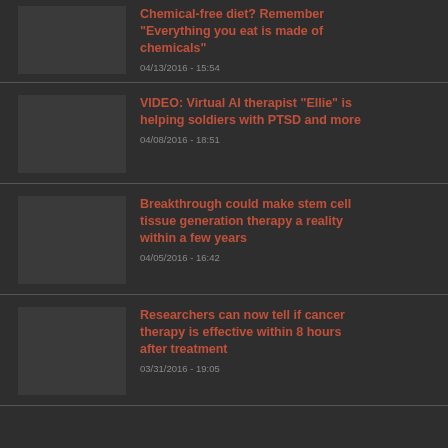Chemical-free diet? Remember "Everything you eat is made of chemicals"
04/13/2016 - 15:54
VIDEO: Virtual AI therapist "Ellie" is helping soldiers with PTSD and more
04/08/2016 - 18:51
Breakthrough could make stem cell tissue generation therapy a reality within a few years
04/05/2016 - 16:42
Researchers can now tell if cancer therapy is effective within 8 hours after treatment
03/31/2016 - 19:05